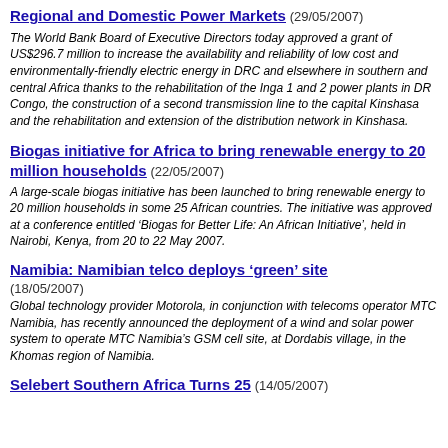Regional and Domestic Power Markets (29/05/2007)
The World Bank Board of Executive Directors today approved a grant of US$296.7 million to increase the availability and reliability of low cost and environmentally-friendly electric energy in DRC and elsewhere in southern and central Africa thanks to the rehabilitation of the Inga 1 and 2 power plants in DR Congo, the construction of a second transmission line to the capital Kinshasa and the rehabilitation and extension of the distribution network in Kinshasa.
Biogas initiative for Africa to bring renewable energy to 20 million households (22/05/2007)
A large-scale biogas initiative has been launched to bring renewable energy to 20 million households in some 25 African countries. The initiative was approved at a conference entitled 'Biogas for Better Life: An African Initiative', held in Nairobi, Kenya, from 20 to 22 May 2007.
Namibia: Namibian telco deploys ‘green’ site (18/05/2007)
Global technology provider Motorola, in conjunction with telecoms operator MTC Namibia, has recently announced the deployment of a wind and solar power system to operate MTC Namibia's GSM cell site, at Dordabis village, in the Khomas region of Namibia.
Selebert Southern Africa Turns 25 (14/05/2007)